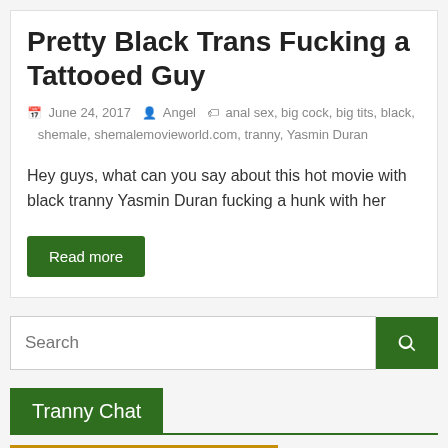Pretty Black Trans Fucking a Tattooed Guy
June 24, 2017  Angel  anal sex, big cock, big tits, black, shemale, shemalemovieworld.com, tranny, Yasmin Duran
Hey guys, what can you say about this hot movie with black tranny Yasmin Duran fucking a hunk with her
Read more
Search
Tranny Chat
[Figure (illustration): Banner image with dark gold/amber background showing bold italic dark blue text 'Black' with a cyan male gender arrow symbol and a pink circular female symbol forming a combined gender symbol]